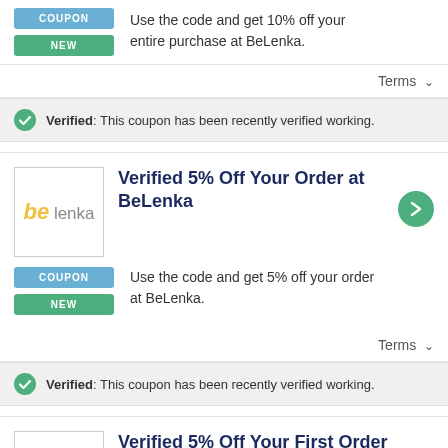Use the code and get 10% off your entire purchase at BeLenka.
Terms
Verified: This coupon has been recently verified working.
Verified 5% Off Your Order at BeLenka
Use the code and get 5% off your order at BeLenka.
Terms
Verified: This coupon has been recently verified working.
Verified 5% Off Your First Order